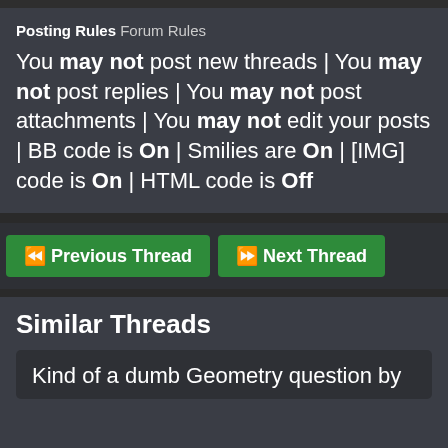Posting Rules Forum Rules
You may not post new threads | You may not post replies | You may not post attachments | You may not edit your posts | BB code is On | Smilies are On | [IMG] code is On | HTML code is Off
◄◄ Previous Thread
►► Next Thread
Similar Threads
Kind of a dumb Geometry question by